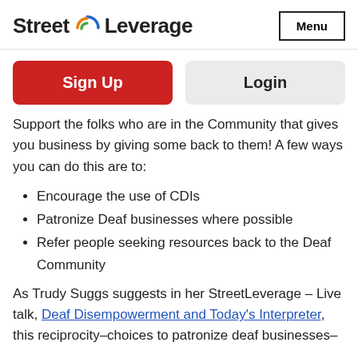Street Leverage | Menu
Sign Up
Login
Support the folks who are in the Community that gives you business by giving some back to them! A few ways you can do this are to:
Encourage the use of CDIs
Patronize Deaf businesses where possible
Refer people seeking resources back to the Deaf Community
As Trudy Suggs suggests in her StreetLeverage – Live talk, Deaf Disempowerment and Today's Interpreter, this reciprocity–choices to patronize deaf businesses–